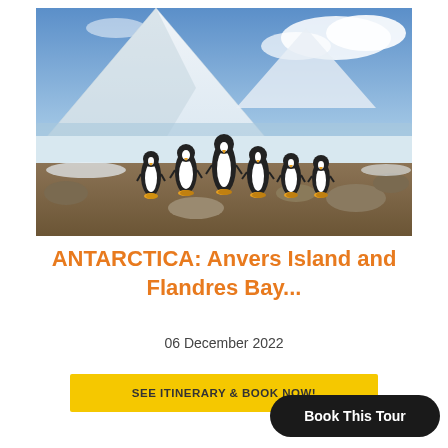[Figure (photo): Photograph of several penguins standing on rocky ground with a snow-covered mountain and blue sky in the background in Antarctica.]
ANTARCTICA: Anvers Island and Flandres Bay...
06 December 2022
SEE ITINERARY & BOOK NOW!
Book This Tour